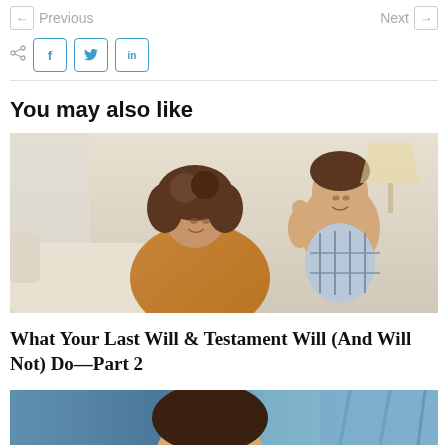← Previous    Next →
Share icons: f  t  in
You may also like
[Figure (photo): Photo of a smiling woman with curly hair in an orange sweater sitting on a couch next to a young child who is raising his hand]
What Your Last Will & Testament Will (And Will Not) Do—Part 2
[Figure (photo): Partial photo of a woman's face at the bottom of the page]